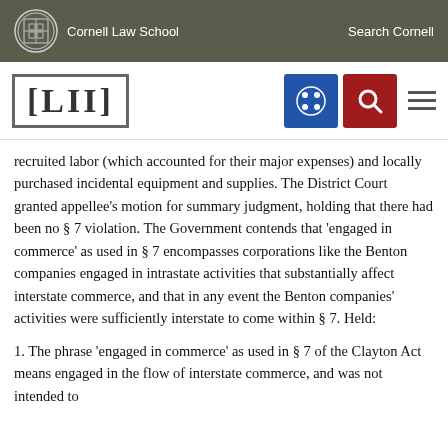Cornell Law School | Search Cornell
[Figure (logo): LII (Legal Information Institute) navigation bar with Cornell Law School logo, blue grid icon, red search icon, and hamburger menu]
recruited labor (which accounted for their major expenses) and locally purchased incidental equipment and supplies. The District Court granted appellee's motion for summary judgment, holding that there had been no § 7 violation. The Government contends that 'engaged in commerce' as used in § 7 encompasses corporations like the Benton companies engaged in intrastate activities that substantially affect interstate commerce, and that in any event the Benton companies' activities were sufficiently interstate to come within § 7. Held:
1. The phrase 'engaged in commerce' as used in § 7 of the Clayton Act means engaged in the flow of interstate commerce, and was not intended to